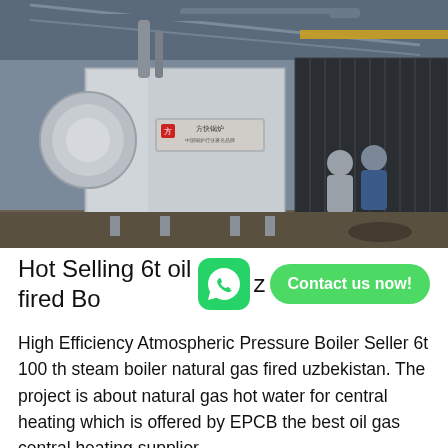[Figure (photo): Industrial boiler equipment inside a large factory/warehouse. A large silver rectangular boiler unit with Chinese text label (方快锅炉) is prominently featured in the center. Two workers in winter jackets stand to the right. Various pipes and metal structures visible overhead and in background.]
Hot Selling 6t oil fired Boiler
High Efficiency Atmospheric Pressure Boiler Seller 6t 100 th steam boiler natural gas fired uzbekistan. The project is about natural gas hot water for central heating which is offered by EPCB the best oil gas central heating supplier...